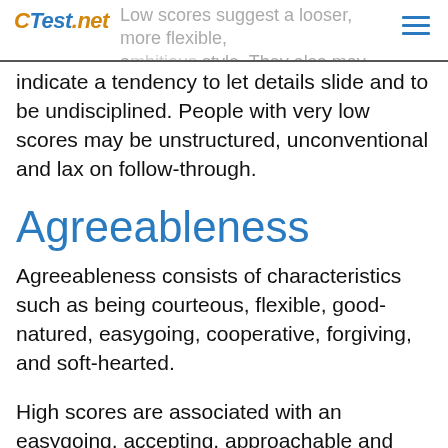CTest.net
Low scores suggest a looser, more flexible, ambitious style. They also may indicate a tendency to let details slide and to be undisciplined. People with very low scores may be unstructured, unconventional and lax on follow-through.
Agreeableness
Agreeableness consists of characteristics such as being courteous, flexible, good-natured, easygoing, cooperative, forgiving, and soft-hearted.
High scores are associated with an easygoing, accepting, approachable and tolerant